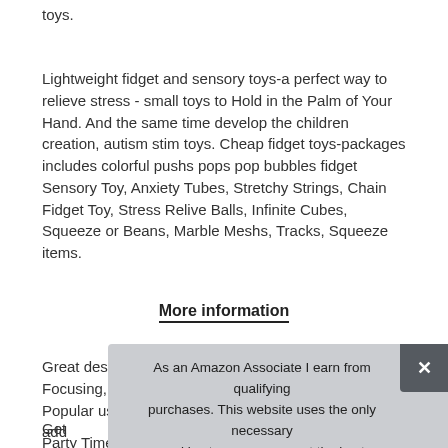toys.
Lightweight fidget and sensory toys-a perfect way to relieve stress - small toys to Hold in the Palm of Your Hand. And the same time develop the children creation, autism stim toys. Cheap fidget toys-packages includes colorful pushs pops pop bubbles fidget Sensory Toy, Anxiety Tubes, Stretchy Strings, Chain Fidget Toy, Stress Relive Balls, Infinite Cubes, Squeeze or Beans, Marble Meshs, Tracks, Squeeze items.
More information
Great design for Anxiety, Classroom Rewards, Focusing, etc. Popular uses  for fun birthday party favors, carnivals, add quit box
Get
Party Time. Helps Relieve Stress. For kids or adults-this
As an Amazon Associate I earn from qualifying purchases. This website uses the only necessary cookies to ensure you get the best experience on our website. More information